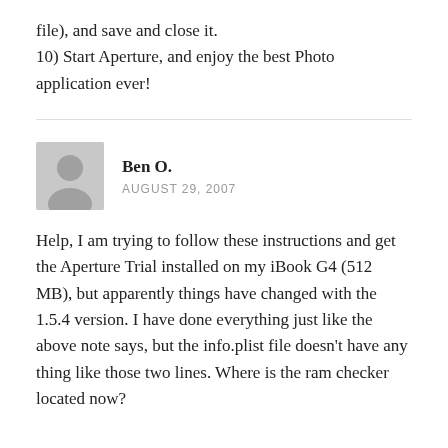file), and save and close it.
10) Start Aperture, and enjoy the best Photo application ever!
Ben O.
AUGUST 29, 2007
Help, I am trying to follow these instructions and get the Aperture Trial installed on my iBook G4 (512 MB), but apparently things have changed with the 1.5.4 version. I have done everything just like the above note says, but the info.plist file doesn't have any thing like those two lines. Where is the ram checker located now?